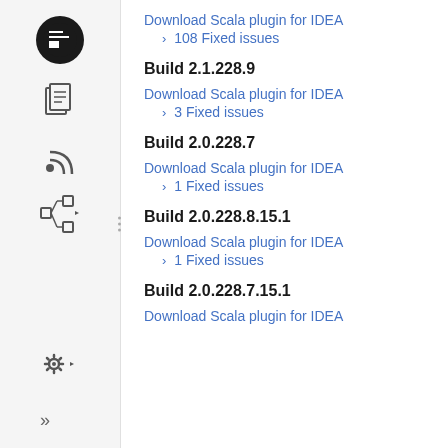[Figure (screenshot): Left sidebar with icons: JetBrains logo (black circle), documents icon, RSS feed icon, tree/hierarchy icon, gear/settings icon, double-arrow icon]
Download Scala plugin for IDEA
108 Fixed issues
Build 2.1.228.9
Download Scala plugin for IDEA
3 Fixed issues
Build 2.0.228.7
Download Scala plugin for IDEA
1 Fixed issues
Build 2.0.228.8.15.1
Download Scala plugin for IDEA
1 Fixed issues
Build 2.0.228.7.15.1
Download Scala plugin for IDEA